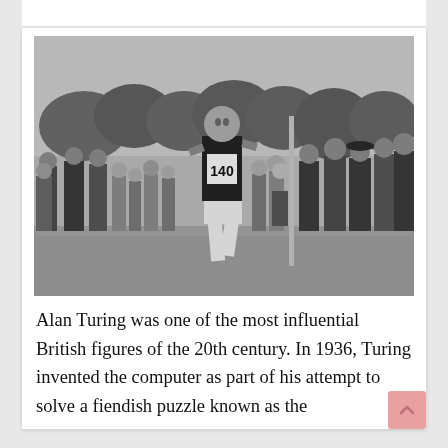[Figure (photo): Black and white photograph of Alan Turing running in a race, wearing bib number 140, with a crowd of spectators lining the course on both sides.]
Alan Turing was one of the most influential British figures of the 20th century. In 1936, Turing invented the computer as part of his attempt to solve a fiendish puzzle known as the